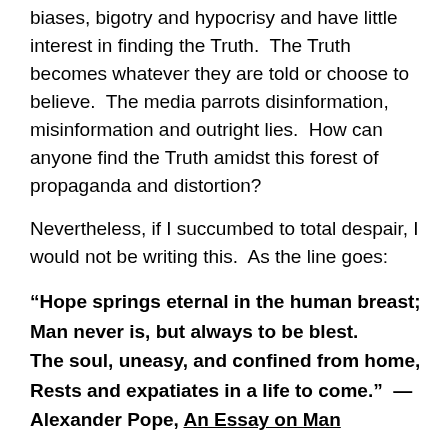biases, bigotry and hypocrisy and have little interest in finding the Truth.  The Truth becomes whatever they are told or choose to believe.  The media parrots disinformation, misinformation and outright lies.  How can anyone find the Truth amidst this forest of propaganda and distortion?
Nevertheless, if I succumbed to total despair, I would not be writing this.  As the line goes:
“Hope springs eternal in the human breast; Man never is, but always to be blest. The soul, uneasy, and confined from home, Rests and expatiates in a life to come.”  — Alexander Pope, An Essay on Man
So, I have hopes that if even one person out there reading my blog has a second thought or an insight garnered by